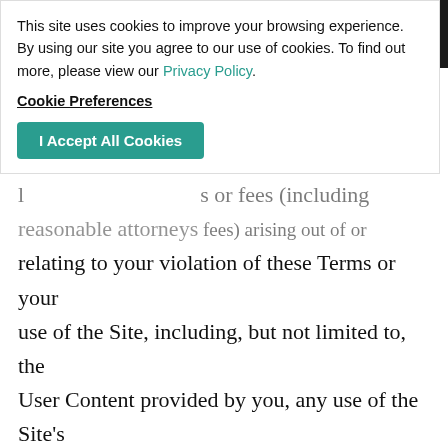Navigation header bar with accessibility icon, media icons, and close button
This site uses cookies to improve your browsing experience. By using our site you agree to our use of cookies. To find out more, please view our Privacy Policy.
Cookie Preferences
I Accept All Cookies
successors and assigns from and against any (Cookie Preferences), damages, judgements, awards, losses or fees (including reasonable attorneys fees) arising out of or relating to your violation of these Terms or your use of the Site, including, but not limited to, the User Content provided by you, any use of the Site's content, services and products other than as expressly authorized in these Terms or your use of any information obtained from the Site or your violation of any law. Neither Entrata nor Property Management Company will be responsible or liable for unauthorized access of facilities or to your data